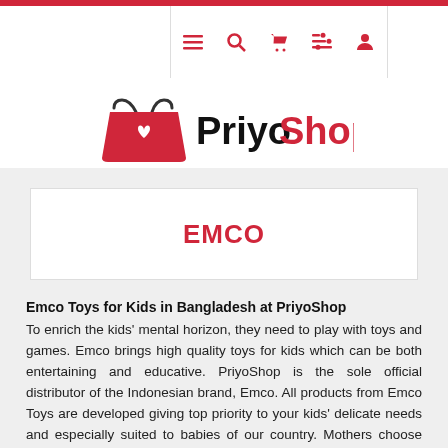PriyoShop navigation bar with menu, search, cart, list, and account icons
[Figure (logo): PriyoShop logo: red shopping bag with heart icon and text PriyoShop in black and red]
EMCO
Emco Toys for Kids in Bangladesh at PriyoShop
To enrich the kids' mental horizon, they need to play with toys and games. Emco brings high quality toys for kids which can be both entertaining and educative. PriyoShop is the sole official distributor of the Indonesian brand, Emco. All products from Emco Toys are developed giving top priority to your kids' delicate needs and especially suited to babies of our country. Mothers choose Emco Toys for their kids for their safest playtime. And PriyoShop is all set to provide you all the gaming